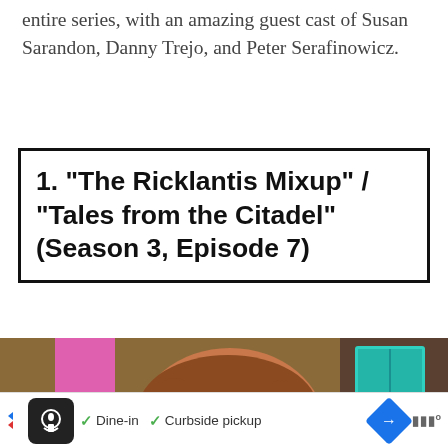entire series, with an amazing guest cast of Susan Sarandon, Danny Trejo, and Peter Serafinowicz.
1. "The Ricklantis Mixup" / "Tales from the Citadel" (Season 3, Episode 7)
[Figure (screenshot): Screenshot from Rick and Morty animated show showing a close-up of Morty's face with a bored/tired expression, in a colorful animated environment with pink, teal, and brown tones.]
[Figure (screenshot): Mobile advertisement bar at the bottom showing a restaurant app ad with chef logo, dine-in and curbside pickup options, navigation arrow, and signal bars.]